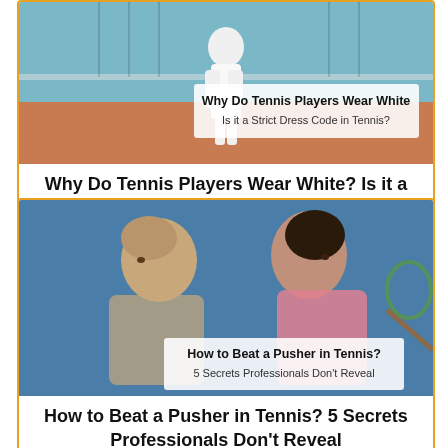[Figure (photo): Tennis player in white on a court, with overlay text 'Why Do Tennis Players Wear White / Is it a Strict Dress Code in Tennis?']
Why Do Tennis Players Wear White? Is it a Strict Dress Code in Tennis?
[Figure (photo): Two female tennis players facing each other intensely, with overlay text 'How to Beat a Pusher in Tennis? 5 Secrets Professionals Don't Reveal']
How to Beat a Pusher in Tennis? 5 Secrets Professionals Don't Reveal